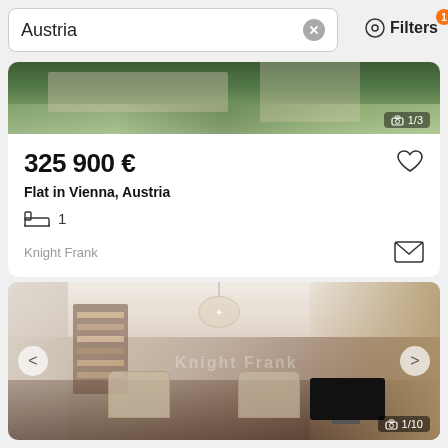Austria
Filters
[Figure (photo): Top portion of a property exterior photo showing greenery and building, with image counter '1/3' overlay]
325 900 €
Flat in Vienna, Austria
1
Knight Frank
[Figure (photo): Interior room photo of a luxury apartment in Vienna showing chandelier, armchairs, bookshelf, curtains, fireplace and TV, with navigation arrows and image counter '1/10']